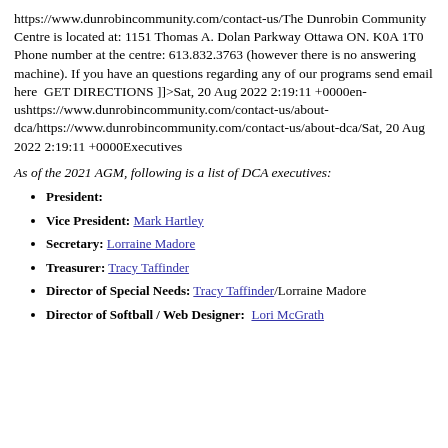https://www.dunrobincommunity.com/contact-us/The Dunrobin Community Centre is located at: 1151 Thomas A. Dolan Parkway Ottawa ON. K0A 1T0 Phone number at the centre: 613.832.3763 (however there is no answering machine). If you have an questions regarding any of our programs send email here  GET DIRECTIONS ]]>Sat, 20 Aug 2022 2:19:11 +0000en-ushttps://www.dunrobincommunity.com/contact-us/about-dca/https://www.dunrobincommunity.com/contact-us/about-dca/Sat, 20 Aug 2022 2:19:11 +0000Executives
As of the 2021 AGM, following is a list of DCA executives:
President:
Vice President: Mark Hartley
Secretary: Lorraine Madore
Treasurer: Tracy Taffinder
Director of Special Needs: Tracy Taffinder/Lorraine Madore
Director of Softball / Web Designer: Lori McGrath